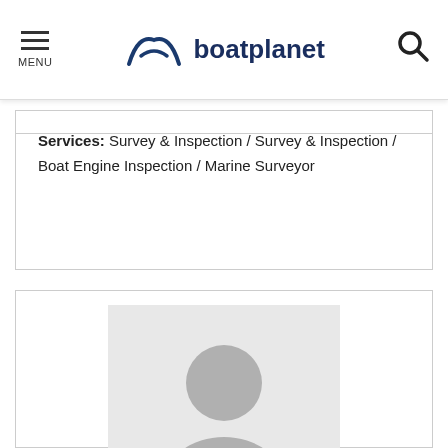MENU | boatplanet
Services: Survey & Inspection / Survey & Inspection / Boat Engine Inspection / Marine Surveyor
[Figure (photo): Default user/profile placeholder image: grey silhouette of a person on a light grey background]